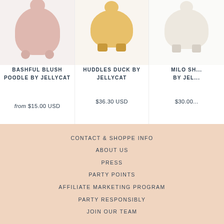BASHFUL BLUSH POODLE BY JELLYCAT
from $15.00 USD
HUDDLES DUCK BY JELLYCAT
$36.30 USD
MILO SH... BY JEL...
$30.00...
CONTACT & SHOPPE INFO
ABOUT US
PRESS
PARTY POINTS
AFFILIATE MARKETING PROGRAM
PARTY RESPONSIBLY
JOIN OUR TEAM